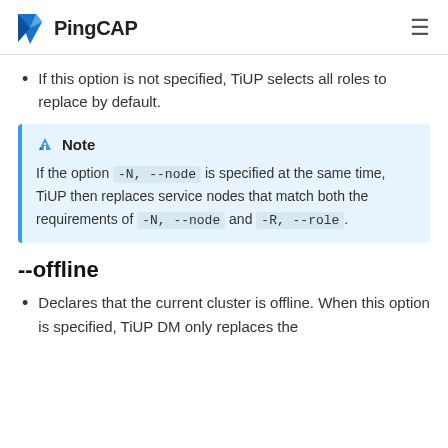PingCAP
If this option is not specified, TiUP selects all roles to replace by default.
Note
If the option -N, --node is specified at the same time, TiUP then replaces service nodes that match both the requirements of -N, --node and -R, --role.
--offline
Declares that the current cluster is offline. When this option is specified, TiUP DM only replaces the